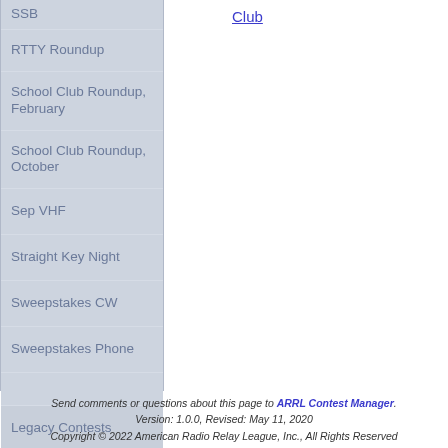SSB
RTTY Roundup
School Club Roundup, February
School Club Roundup, October
Sep VHF
Straight Key Night
Sweepstakes CW
Sweepstakes Phone
Legacy Contests
Club
Send comments or questions about this page to ARRL Contest Manager. Version: 1.0.0, Revised: May 11, 2020 Copyright © 2022 American Radio Relay League, Inc., All Rights Reserved